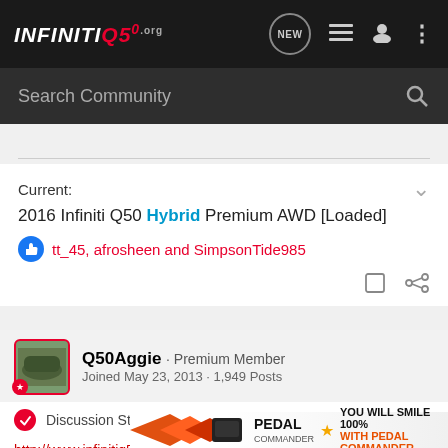INFINITI Q50 .org — navigation bar with NEW, list, user, and menu icons
Search Community
Current:
2016 Infiniti Q50 Hybrid Premium AWD [Loaded]
tt_45, afrosheen and SimpsonTide985
Q50Aggie · Premium Member
Joined May 23, 2013 · 1,949 Posts
Discussion Starter · #8 · Sep 6, 2013
http://www.infinitiq50.org/forum/ne...igner-new-exterior-color-interior-